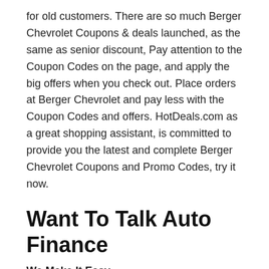for old customers. There are so much Berger Chevrolet Coupons & deals launched, as the same as senior discount, Pay attention to the Coupon Codes on the page, and apply the big offers when you check out. Place orders at Berger Chevrolet and pay less with the Coupon Codes and offers. HotDeals.com as a great shopping assistant, is committed to provide you the latest and complete Berger Chevrolet Coupons and Promo Codes, try it now.
Want To Talk Auto Finance
We Make It Easy
When you decide you are ready to get into a great GMC, Buick, we are here for you . Purchase online with our intuitive online tools, or let us do all the paper work for you. When you come to get the keys, we can have you out the door in as